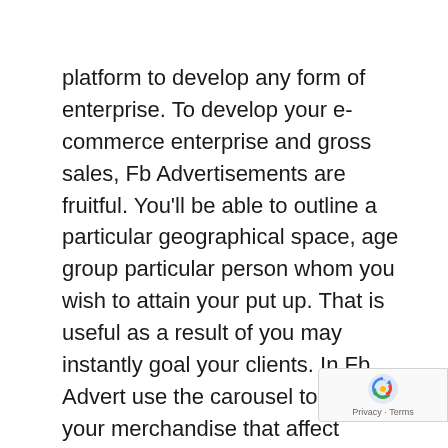platform to develop any form of enterprise. To develop your e-commerce enterprise and gross sales, Fb Advertisements are fruitful. You'll be able to outline a particular geographical space, age group particular person whom you wish to attain your put up. That is useful as a result of you may instantly goal your clients. In Fb Advert use the carousel to indicate your merchandise that affect drastically in your clients. Use movies in your adverts or posts to seize the eye of tourists. Enhance your gross sales with conversion price optimization:- means gathering and evaluation of the info